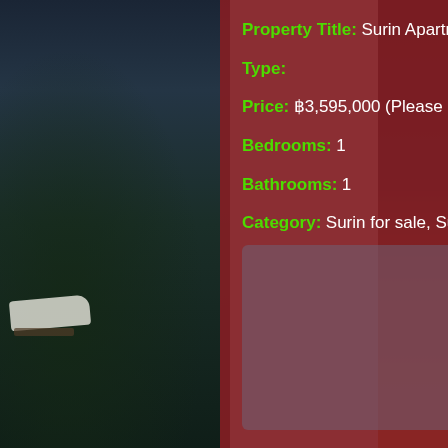Property Title: Surin Apartment with 1 bedrooms selling for ฿3,595,000
Type:
Price: ฿3,595,000 (Please also contact us for best price and other deals available right now)
Bedrooms: 1
Bathrooms: 1
Category: Surin for sale, Surin property
[Figure (photo): Blurred property image in lower portion of content panel]